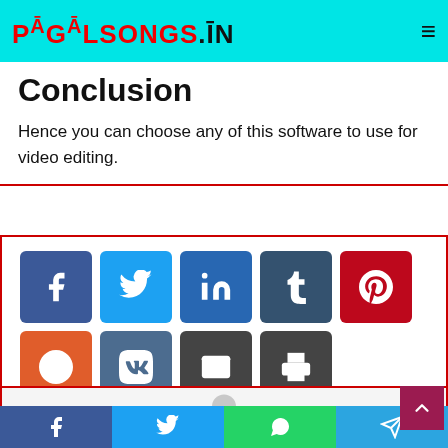PĀGĀLSONGS.ĪN
Conclusion
Hence you can choose any of this software to use for video editing.
[Figure (infographic): Social share buttons: Facebook, Twitter, LinkedIn, Tumblr, Pinterest, Reddit, VK, Email, Print]
[Figure (illustration): Author avatar placeholder (grey person silhouette) and a back-to-top arrow button in dark red]
Bottom share bar: Facebook, Twitter, WhatsApp, Telegram